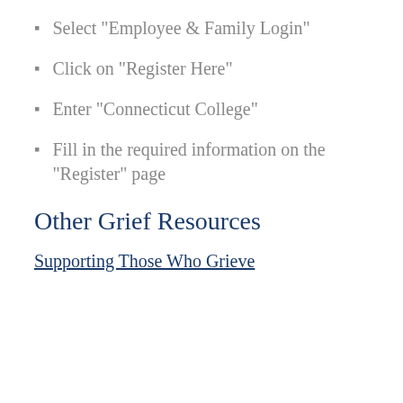Select "Employee & Family Login"
Click on "Register Here"
Enter "Connecticut College"
Fill in the required information on the "Register" page
Other Grief Resources
Supporting Those Who Grieve